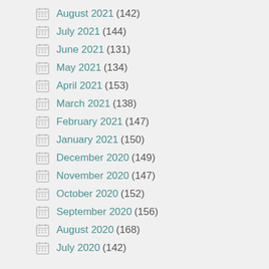August 2021 (142)
July 2021 (144)
June 2021 (131)
May 2021 (134)
April 2021 (153)
March 2021 (138)
February 2021 (147)
January 2021 (150)
December 2020 (149)
November 2020 (147)
October 2020 (152)
September 2020 (156)
August 2020 (168)
July 2020 (142)